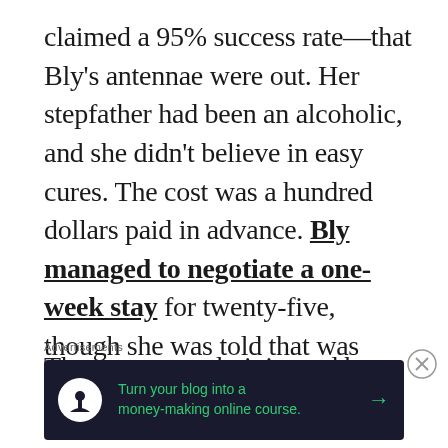claimed a 95% success rate—that Bly's antennae were out. Her stepfather had been an alcoholic, and she didn't believe in easy cures. The cost was a hundred dollars paid in advance. Bly managed to negotiate a one-week stay for twenty-five, though she was told that was normally not allowed.
The cure was administered by syringe
Advertisements
[Figure (infographic): Advertisement banner: dark navy background with a white circle icon containing a tree/person silhouette, green text reading 'Turn your blog into a money-making online course.' with a green arrow pointing right.]